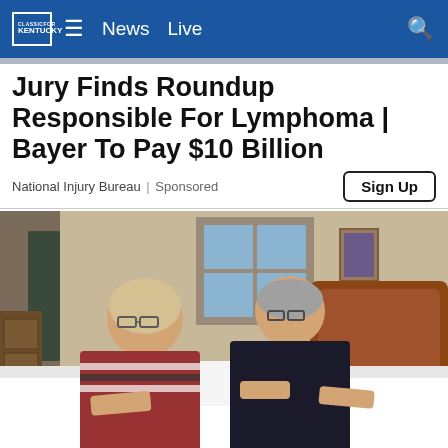News  Live
Jury Finds Roundup Responsible For Lymphoma | Bayer To Pay $10 Billion
National Injury Bureau | Sponsored
[Figure (photo): A man and woman standing beside a bed with white bedding and a wooden headboard in a bedroom]
[Figure (photo): Bottom advertisement strip showing 'PLAY ALL DAY' with Robert Trent Jones Golf Trail logo]
Mattre... For